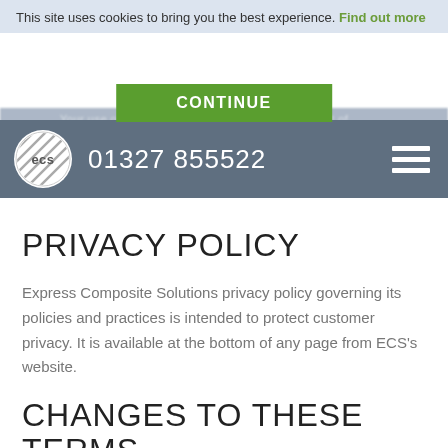This site uses cookies to bring you the best experience. Find out more
CONTINUE
Your use of this website and you thereby opting out of
[Figure (logo): ECS circular logo with diagonal lines pattern]
01327 855522
PRIVACY POLICY
Express Composite Solutions privacy policy governing its policies and practices is intended to protect customer privacy. It is available at the bottom of any page from ECS's website.
CHANGES TO THESE TERMS AND CONDITIONS